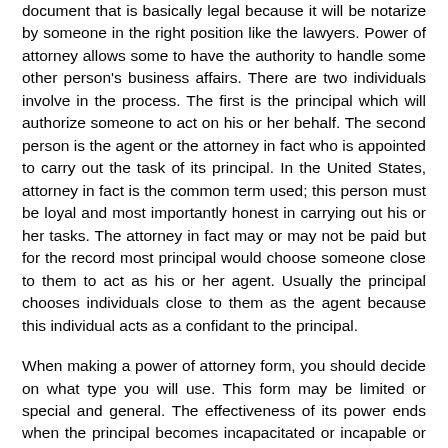document that is basically legal because it will be notarize by someone in the right position like the lawyers. Power of attorney allows some to have the authority to handle some other person's business affairs. There are two individuals involve in the process. The first is the principal which will authorize someone to act on his or her behalf. The second person is the agent or the attorney in fact who is appointed to carry out the task of its principal. In the United States, attorney in fact is the common term used; this person must be loyal and most importantly honest in carrying out his or her tasks. The attorney in fact may or may not be paid but for the record most principal would choose someone close to them to act as his or her agent. Usually the principal chooses individuals close to them as the agent because this individual acts as a confidant to the principal.
When making a power of attorney form, you should decide on what type you will use. This form may be limited or special and general. The effectiveness of its power ends when the principal becomes incapacitated or incapable or even before she or he dies. In this case, the principal will be unable to grant the power needed unless the grantor or principal will state and specify that the power of attorney still